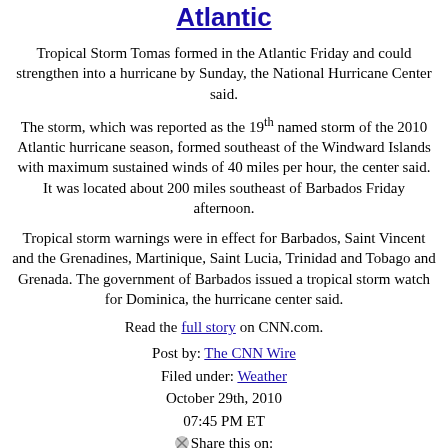Atlantic
Tropical Storm Tomas formed in the Atlantic Friday and could strengthen into a hurricane by Sunday, the National Hurricane Center said.
The storm, which was reported as the 19th named storm of the 2010 Atlantic hurricane season, formed southeast of the Windward Islands with maximum sustained winds of 40 miles per hour, the center said. It was located about 200 miles southeast of Barbados Friday afternoon.
Tropical storm warnings were in effect for Barbados, Saint Vincent and the Grenadines, Martinique, Saint Lucia, Trinidad and Tobago and Grenada. The government of Barbados issued a tropical storm watch for Dominica, the hurricane center said.
Read the full story on CNN.com.
Post by: The CNN Wire
Filed under: Weather
October 29th, 2010
07:45 PM ET
Share this on:
Facebook